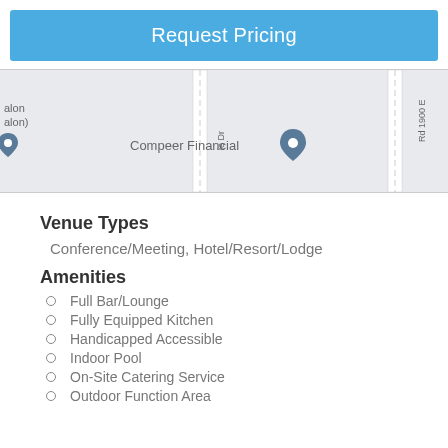Request Pricing
[Figure (map): Partial map showing roads including 'Rd 1900 E' and 'ie Dr', with a map pin at Compeer Financial location and another pin at the left edge near 'alon (alon)']
Venue Types
Conference/Meeting, Hotel/Resort/Lodge
Amenities
Full Bar/Lounge
Fully Equipped Kitchen
Handicapped Accessible
Indoor Pool
On-Site Catering Service
Outdoor Function Area